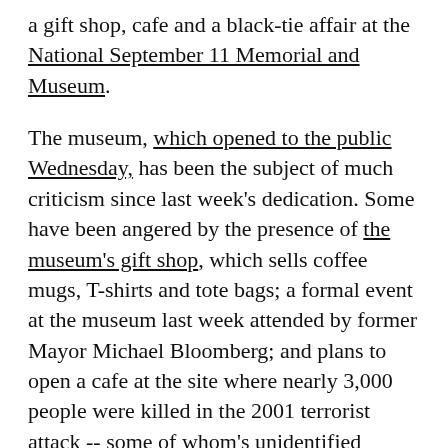a gift shop, cafe and a black-tie affair at the National September 11 Memorial and Museum.
The museum, which opened to the public Wednesday, has been the subject of much criticism since last week's dedication. Some have been angered by the presence of the museum's gift shop, which sells coffee mugs, T-shirts and tote bags; a formal event at the museum last week attended by former Mayor Michael Bloomberg; and plans to open a cafe at the site where nearly 3,000 people were killed in the 2001 terrorist attack -- some of whom's unidentified remains are housed at the museum.
As WCBS 880's Monica Miller reported, some family members of victims and survivors say it's crass commercialism that has no place on such hallowed